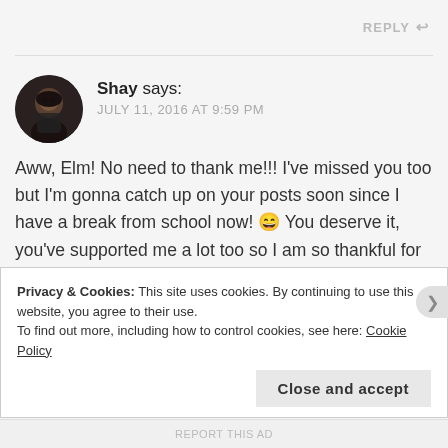REPLY
[Figure (photo): Circular avatar photo of user Shay, dark background with person visible]
Shay says:
JULY 11, 2016 AT 9:59 PM
Aww, Elm! No need to thank me!!! I've missed you too but I'm gonna catch up on your posts soon since I have a break from school now! 😄 You deserve it, you've supported me a lot too so I am so thankful for that! 🙂
Privacy & Cookies: This site uses cookies. By continuing to use this website, you agree to their use.
To find out more, including how to control cookies, see here: Cookie Policy
Close and accept
REPORT THIS AD